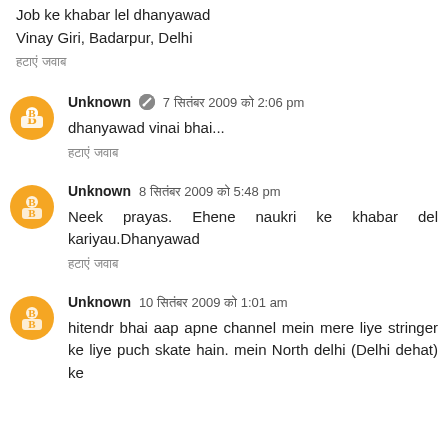Job ke khabar lel dhanyawad
Vinay Giri, Badarpur, Delhi
हटाएं जवाब
Unknown 🔘 7 सितंबर 2009 को 2:06 pm
dhanyawad vinai bhai...
हटाएं जवाब
Unknown  8 सितंबर 2009 को 5:48 pm
Neek prayas. Ehene naukri ke khabar del kariyau.Dhanyawad
हटाएं जवाब
Unknown  10 सितंबर 2009 को 1:01 am
hitendr bhai aap apne channel mein mere liye stringer ke liye puch skate hain. mein North delhi (Delhi dehat) ke